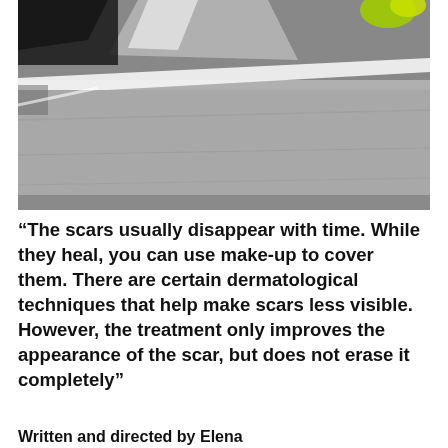[Figure (photo): A close-up photograph showing what appears to be a surface or skin texture, with a glass or transparent object in the upper portion and a gray, wrinkled or folded surface below. There is a bright green/yellow element visible at the top right.]
“The scars usually disappear with time. While they heal, you can use make-up to cover them. There are certain dermatological techniques that help make scars less visible. However, the treatment only improves the appearance of the scar, but does not erase it completely”
Written and directed by Elena